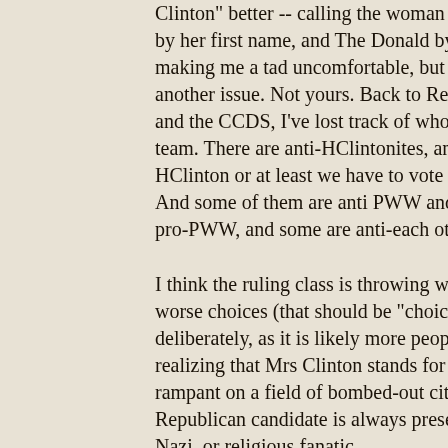Clinton" better -- calling the woman candidate by her first name, and The Donald by his last is making me a tad uncomfortable, but that's another issue. Not yours. Back to Reich, Webb, and the CCDS, I've lost track of who is on what team. There are anti-HClintonites, and pro-HClinton or at least we have to vote for her-ites. And some of them are anti PWW and some are pro-PWW, and some are anti-each other.
I think the ruling class is throwing worse and worse choices (that should be "choices") at us, deliberately, as it is likely more people are realizing that Mrs Clinton stands for Capitalism rampant on a field of bombed-out cities.  The Republican candidate is always presented as a Nazi, or religious fanatic,